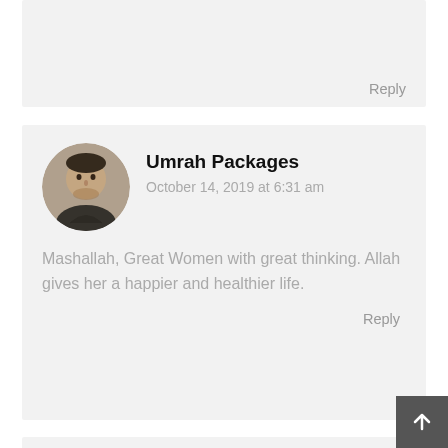Reply
Umrah Packages
October 14, 2019 at 6:31 am
Mashallah, Great Women with great thinking. Allah gives her a happier and healthier life.
Reply
[Figure (photo): Circular profile photo of a young man]
Attaur Rahman, Administrator Jamia Rahmania Dargai, District Malakand, Khyber Pakhtukhwa
October 29, 2019 at 6:08 am